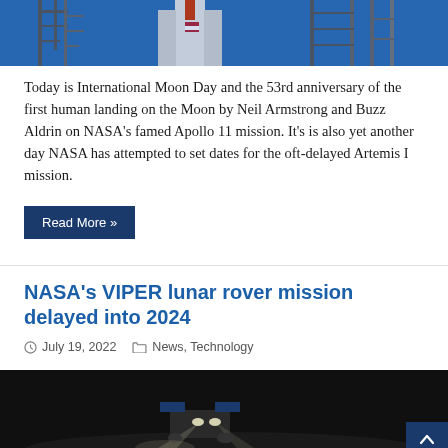[Figure (photo): Rocket on launch pad with scaffolding, blue sky background — partial top crop]
Today is International Moon Day and the 53rd anniversary of the first human landing on the Moon by Neil Armstrong and Buzz Aldrin on NASA's famed Apollo 11 mission. It's is also yet another day NASA has attempted to set dates for the oft-delayed Artemis I mission.
Read More »
NASA's VIPER lunar rover mission delayed into 2024
July 19, 2022   News, Technology
[Figure (photo): Lunar rover on dark surface with bright lights illuminating the ground — night scene]